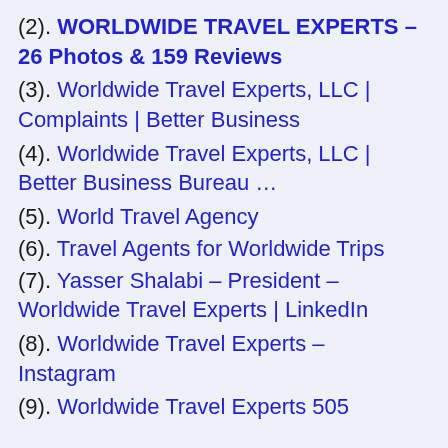(2). WORLDWIDE TRAVEL EXPERTS – 26 Photos & 159 Reviews
(3). Worldwide Travel Experts, LLC | Complaints | Better Business
(4). Worldwide Travel Experts, LLC | Better Business Bureau …
(5). World Travel Agency
(6). Travel Agents for Worldwide Trips
(7). Yasser Shalabi – President – Worldwide Travel Experts | LinkedIn
(8). Worldwide Travel Experts – Instagram
(9). Worldwide Travel Experts 505